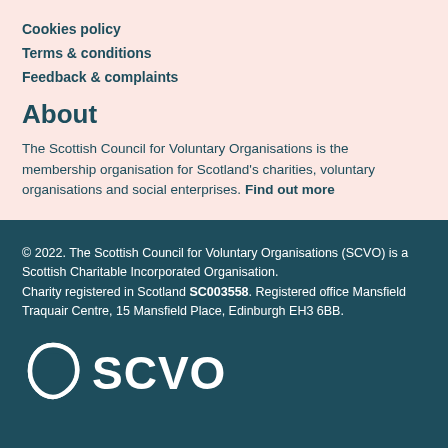Cookies policy
Terms & conditions
Feedback & complaints
About
The Scottish Council for Voluntary Organisations is the membership organisation for Scotland's charities, voluntary organisations and social enterprises. Find out more
© 2022. The Scottish Council for Voluntary Organisations (SCVO) is a Scottish Charitable Incorporated Organisation. Charity registered in Scotland SC003558. Registered office Mansfield Traquair Centre, 15 Mansfield Place, Edinburgh EH3 6BB.
[Figure (logo): SCVO logo — shield-like icon and SCVO wordmark in white on dark teal background]